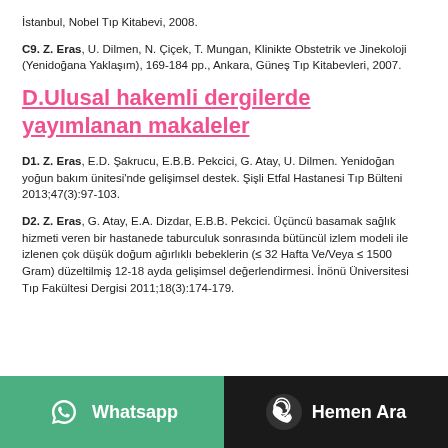İstanbul, Nobel Tıp Kitabevi, 2008.
C9. Z. Eras, U. Dilmen, N. Çiçek, T. Mungan, Klinikte Obstetrik ve Jinekoloji (Yenidoğana Yaklaşım), 169-184 pp., Ankara, Güneş Tıp Kitabevleri, 2007.
D.Ulusal hakemli dergilerde yayımlanan makaleler
D1. Z. Eras, E.D. Şakrucu, E.B.B. Pekcici, G. Atay, U. Dilmen. Yenidoğan yoğun bakım ünitesi'nde gelişimsel destek. Şişli Etfal Hastanesi Tıp Bülteni 2013;47(3):97-103.
D2. Z. Eras, G. Atay, E.A. Dizdar, E.B.B. Pekcici. Üçüncü basamak sağlık hizmeti veren bir hastanede taburculuk sonrasında bütüncül izlem modeli ile izlenen çok düşük doğum ağırlıklı bebeklerin (≤ 32 Hafta Ve/Veya ≤ 1500 Gram) düzeltilmiş 12-18 ayda gelişimsel değerlendirmesi. İnönü Üniversitesi Tıp Fakültesi Dergisi 2011;18(3):174-179.
Whatsapp | Hemen Ara